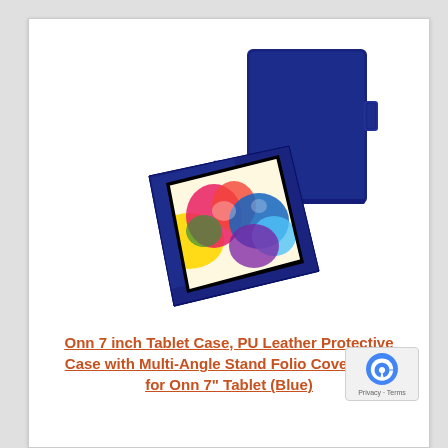[Figure (photo): Product photo showing a navy blue PU leather folio tablet case for a 7-inch tablet. Shows two views: the closed case standing upright (back view) and the open case propped at an angle as a stand with a colorful floral display on the tablet screen.]
Onn 7 inch Tablet Case, PU Leather Protective Case with Multi-Angle Stand Folio Cover Case for Onn 7" Tablet (Blue)